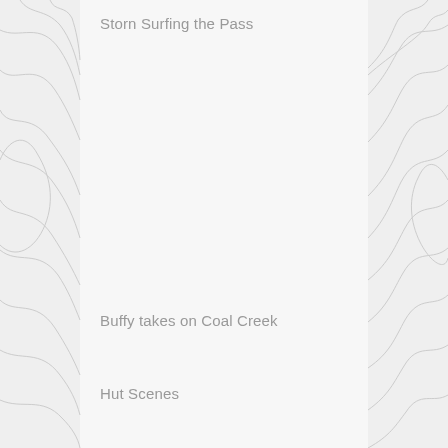[Figure (map): Topographic contour map background in light gray, with a white/light center vertical panel. Contour lines visible on left and right sides of the page.]
Storn Surfing the Pass
Buffy takes on Coal Creek
Hut Scenes